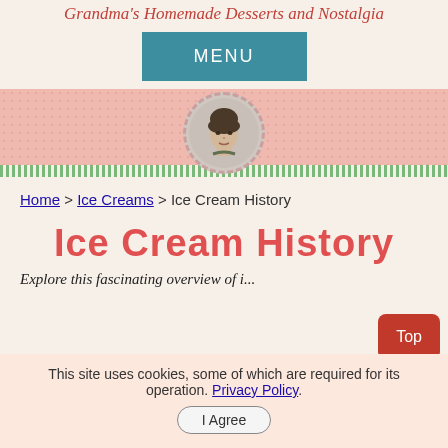Grandma's Homemade Desserts and Nostalgia
[Figure (other): Teal/blue MENU navigation button]
[Figure (illustration): Pink polka-dot banner with circular portrait of a woman in the center, with green stripe at bottom]
Home > Ice Creams > Ice Cream History
Ice Cream History
Explore this fascinating overview of ice...
This site uses cookies, some of which are required for its operation. Privacy Policy. I Agree